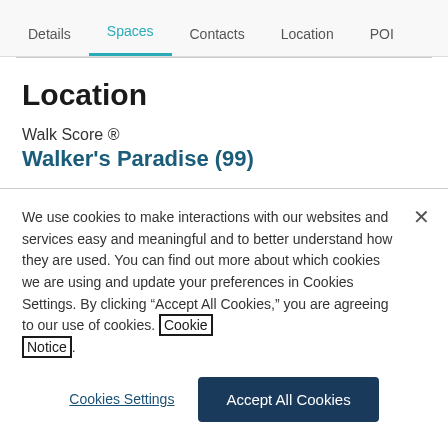Details  Spaces  Contacts  Location  POI
Location
Walk Score ®
Walker's Paradise (99)
We use cookies to make interactions with our websites and services easy and meaningful and to better understand how they are used. You can find out more about which cookies we are using and update your preferences in Cookies Settings. By clicking "Accept All Cookies," you are agreeing to our use of cookies. Cookie Notice.
Cookies Settings
Accept All Cookies